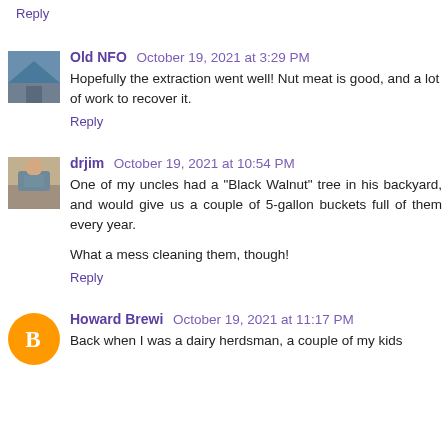Reply
Old NFO  October 19, 2021 at 3:29 PM
Hopefully the extraction went well! Nut meat is good, and a lot of work to recover it.
Reply
drjim  October 19, 2021 at 10:54 PM
One of my uncles had a "Black Walnut" tree in his backyard, and would give us a couple of 5-gallon buckets full of them every year.
What a mess cleaning them, though!
Reply
Howard Brewi  October 19, 2021 at 11:17 PM
Back when I was a dairy herdsman, a couple of my kids